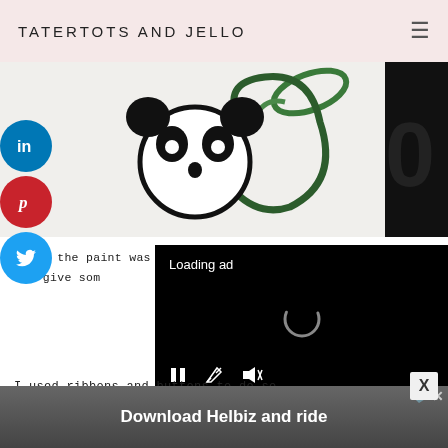TATERTOTS AND JELLO
[Figure (photo): Close-up photo of an embroidered design on white canvas fabric showing a cute cartoon panda/character with green apple motif outlined in black and green thread]
[Figure (screenshot): Social media share buttons: LinkedIn (blue), Pinterest (red), Twitter (blue) circular buttons on left side]
[Figure (screenshot): Video player overlay showing 'Loading ad' text with spinner and playback controls (pause, fullscreen, mute) on black background]
After the paint was and give som
I used ribbons and buttons to do so
[Figure (screenshot): Advertisement banner at bottom: 'Download Helbiz and ride' with AdChoices icon and close button]